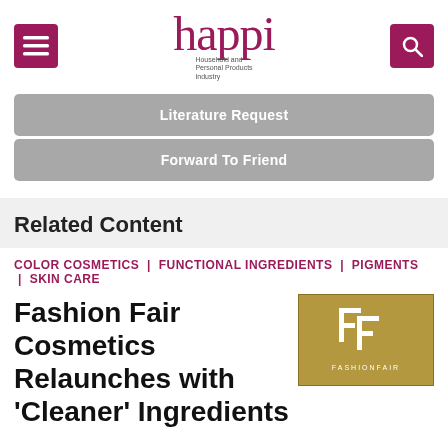happi — Household and Personal Products Industry
Literature Request
Forward To Friend
Related Content
COLOR COSMETICS | FUNCTIONAL INGREDIENTS | PIGMENTS | SKIN CARE
[Figure (logo): Fashion Fair Cosmetics logo — gold/olive square background with white stylized 'FF' lettermark and FASHIONFAIR text below]
Fashion Fair Cosmetics Relaunches with 'Cleaner' Ingredients